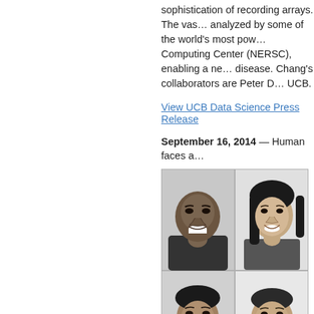sophistication of recording arrays. The vas… analyzed by some of the world's most pow… Computing Center (NERSC), enabling a ne… disease. Chang's collaborators are Peter D… UCB.
View UCB Data Science Press Release
September 16, 2014 — Human faces a…
[Figure (photo): A 2x2 grid of black and white portrait photos showing four smiling people's faces.]